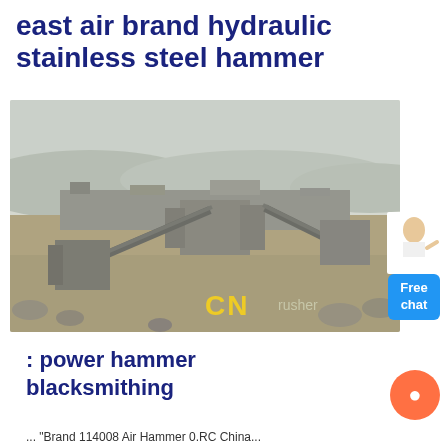east air brand hydraulic stainless steel hammer
[Figure (photo): Aerial view of a large industrial quarry/crushing plant facility with conveyor belts, machines, and equipment spread across a dirt landscape. Yellow 'CN' logo visible in the foreground along with text 'crusher'.]
: power hammer blacksmithing
... "Brand 114008 Air Hammer 0.RC China...